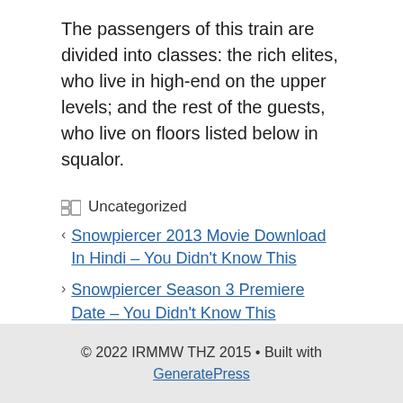The passengers of this train are divided into classes: the rich elites, who live in high-end on the upper levels; and the rest of the guests, who live on floors listed below in squalor.
Uncategorized
Snowpiercer 2013 Movie Download In Hindi – You Didn't Know This
Snowpiercer Season 3 Premiere Date – You Didn't Know This
© 2022 IRMMW THZ 2015 • Built with GeneratePress